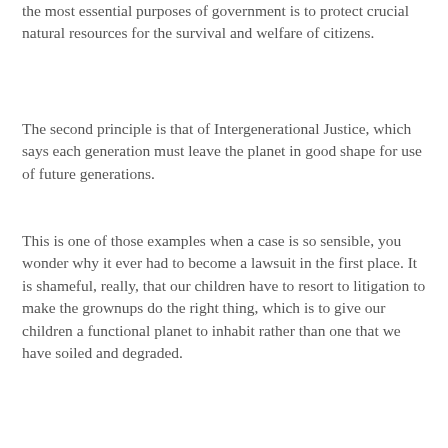the most essential purposes of government is to protect crucial natural resources for the survival and welfare of citizens.
The second principle is that of Intergenerational Justice, which says each generation must leave the planet in good shape for use of future generations.
This is one of those examples when a case is so sensible, you wonder why it ever had to become a lawsuit in the first place. It is shameful, really, that our children have to resort to litigation to make the grownups do the right thing, which is to give our children a functional planet to inhabit rather than one that we have soiled and degraded.
[Figure (photo): Broken/missing image placeholder]
The children's case is supported not only by the outstanding lawyers from Our Children's Trust, but also by an array of friends that include organisations like the Sierra Club, the Climate Reality Project and 350.org, as well as climate scientists like James Hansen, Stefan Rahmstorf and Kevin Trenberth. The argument is legally as well as scientifically